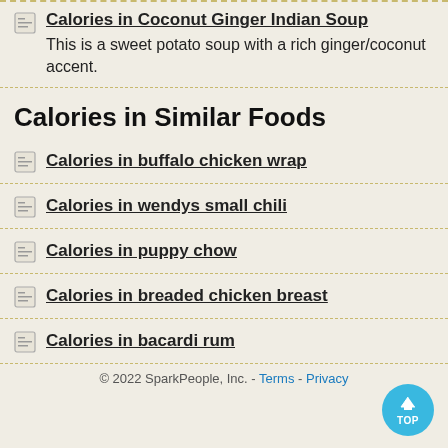Calories in Coconut Ginger Indian Soup
This is a sweet potato soup with a rich ginger/coconut accent.
Calories in Similar Foods
Calories in buffalo chicken wrap
Calories in wendys small chili
Calories in puppy chow
Calories in breaded chicken breast
Calories in bacardi rum
© 2022 SparkPeople, Inc. - Terms - Privacy